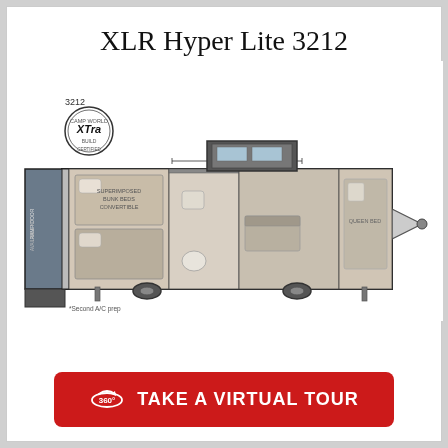XLR Hyper Lite 3212
[Figure (engineering-diagram): Floor plan diagram of the XLR Hyper Lite 3212 RV/travel trailer showing interior layout with ramp door, bunk beds, bathroom, kitchen area, and queen bed. Model number 3212 and XTRA Build badge shown. Dimension annotation '13' 6"' shown across the middle section. Footnote: '*Second A/C prep']
TAKE A VIRTUAL TOUR